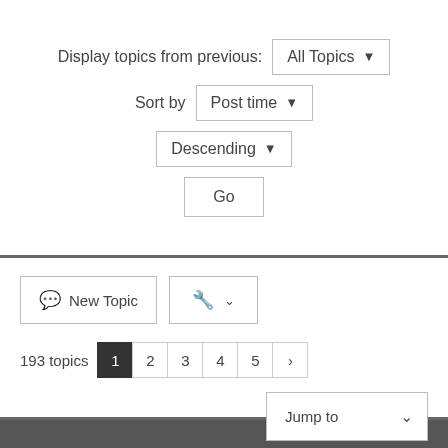Display topics from previous: All Topics ▾
Sort by  Post time ▾
Descending ▾
Go
New Topic
193 topics  1  2  3  4  5  ›
Jump to ▾